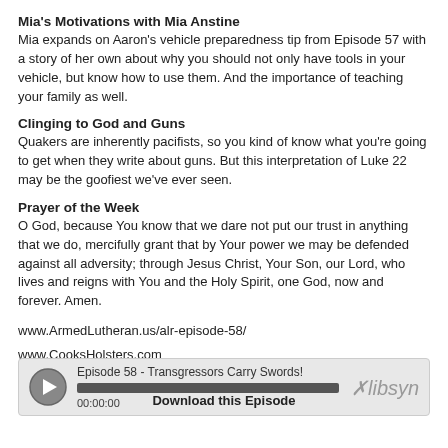Mia's Motivations with Mia Anstine
Mia expands on Aaron's vehicle preparedness tip from Episode 57 with a story of her own about why you should not only have tools in your vehicle, but know how to use them. And the importance of teaching your family as well.
Clinging to God and Guns
Quakers are inherently pacifists, so you kind of know what you're going to get when they write about guns. But this interpretation of Luke 22 may be the goofiest we've ever seen.
Prayer of the Week
O God, because You know that we dare not put our trust in anything that we do, mercifully grant that by Your power we may be defended against all adversity; through Jesus Christ, Your Son, our Lord, who lives and reigns with You and the Holy Spirit, one God, now and forever. Amen.
www.ArmedLutheran.us/alr-episode-58/
www.CooksHolsters.com
[Figure (screenshot): Audio player widget showing Episode 58 - Transgressors Carry Swords! with play button, progress bar, timestamp 00:00:00, and Libsyn logo]
Download this Episode